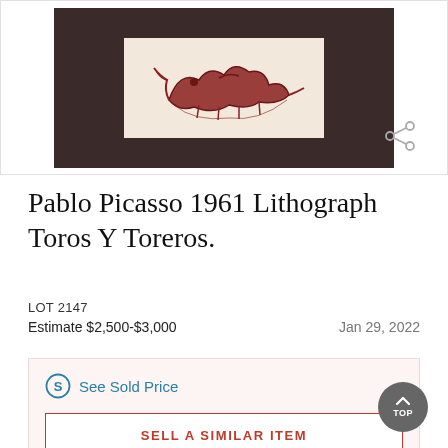[Figure (photo): Framed Pablo Picasso lithograph artwork displayed in a dark wooden frame with black mat, showing a reddish-brown sketch on cream/beige paper. The frame appears rustic and distressed.]
Pablo Picasso 1961 Lithograph Toros Y Toreros.
LOT 2147
Estimate $2,500-$3,000	Jan 29, 2022
See Sold Price
SELL A SIMILAR ITEM